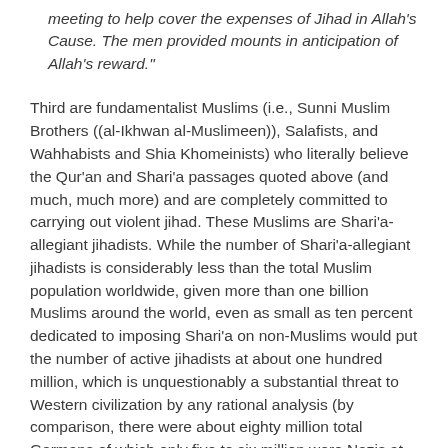meeting to help cover the expenses of Jihad in Allah's Cause. The men provided mounts in anticipation of Allah's reward."
Third are fundamentalist Muslims (i.e., Sunni Muslim Brothers ((al-Ikhwan al-Muslimeen)), Salafists, and Wahhabists and Shia Khomeinists) who literally believe the Qur'an and Shari'a passages quoted above (and much, much more) and are completely committed to carrying out violent jihad. These Muslims are Shari'a-allegiant jihadists. While the number of Shari'a-allegiant jihadists is considerably less than the total Muslim population worldwide, given more than one billion Muslims around the world, even as small as ten percent dedicated to imposing Shari'a on non-Muslims would put the number of active jihadists at about one hundred million, which is unquestionably a substantial threat to Western civilization by any rational analysis (by comparison, there were about eighty million total Germans of which only five to six million were Nazis at the beginning of World War II).